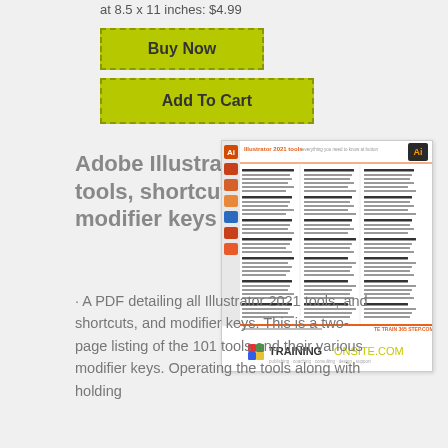at 8.5 x 11 inches: $4.99
Buy Now
Add To Cart
Adobe Illustrator 2021 tools, shortcuts, and modifier keys
· A PDF detailing all Illustrator 2021 tools, and shortcuts, and modifier keys. This is a two-page listing of the 101 tools and their various modifier keys. Operating the tools along with holding
[Figure (screenshot): Preview image of Adobe Illustrator 2021 tools PDF document, showing a multi-column layout with tool listings and a TRAININGONSITE.COM logo at the bottom.]